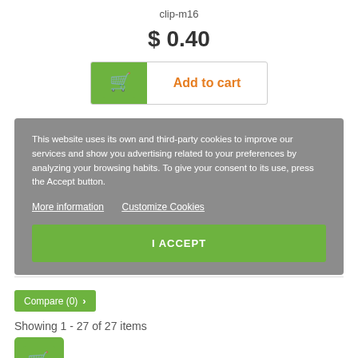clip-m16
$ 0.40
[Figure (screenshot): Add to cart button with green shopping cart icon on left and orange 'Add to cart' text on right]
This website uses its own and third-party cookies to improve our services and show you advertising related to your preferences by analyzing your browsing habits. To give your consent to its use, press the Accept button.
More information   Customize Cookies
I ACCEPT
Compare (0) >
Showing 1 - 27 of 27 items
[Figure (screenshot): Small green shopping cart icon]